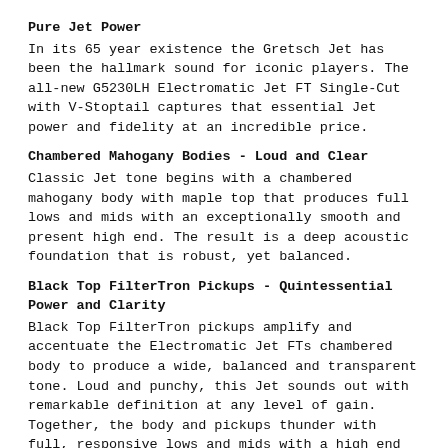Pure Jet Power
In its 65 year existence the Gretsch Jet has been the hallmark sound for iconic players. The all-new G5230LH Electromatic Jet FT Single-Cut with V-Stoptail captures that essential Jet power and fidelity at an incredible price.
Chambered Mahogany Bodies - Loud and Clear
Classic Jet tone begins with a chambered mahogany body with maple top that produces full lows and mids with an exceptionally smooth and present high end. The result is a deep acoustic foundation that is robust, yet balanced.
Black Top FilterTron Pickups - Quintessential Power and Clarity
Black Top FilterTron pickups amplify and accentuate the Electromatic Jet FTs chambered body to produce a wide, balanced and transparent tone. Loud and punchy, this Jet sounds out with remarkable definition at any level of gain. Together, the body and pickups thunder with full, responsive lows and mids with a high end that sparkles without spikes.
Total Tonal Control
The Electromatic Jet FT is equipped with essential features that give you complete tonal control. The combination of individual pickup